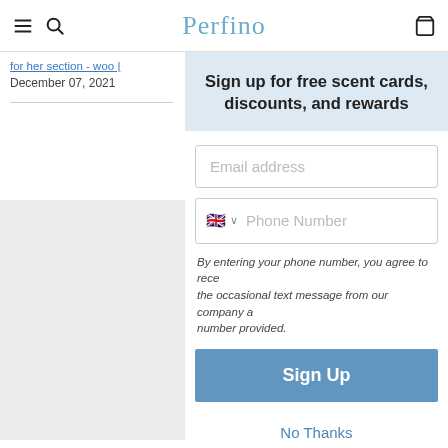Perfino — navigation bar with hamburger menu, search, logo, and cart icons
for her section - woo
December 07, 2021
[Figure (screenshot): Gray placeholder image block on left column]
Sign up for free scent cards, discounts, and rewards
Email address
Phone Number
By entering your phone number, you agree to rece the occasional text message from our company a number provided.
Sign Up
No Thanks